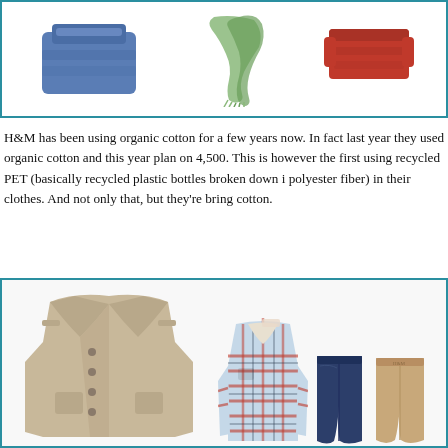[Figure (photo): Top section showing clothing items in a teal-bordered box: a blue tank top on the left, a green and white scarf in the middle, and red clothing items on the right.]
H&M has been using organic cotton for a few years now. In fact last year they used organic cotton and this year plan on 4,500. This is however the first using recycled PET (basically recycled plastic bottles broken down i polyester fiber) in their clothes. And not only that, but they're bring cotton.
[Figure (photo): Bottom section in teal-bordered box showing men's clothing: a tan/khaki double-breasted jacket on the left, and on the right a red plaid shirt with dark navy jeans and khaki/tan pants.]